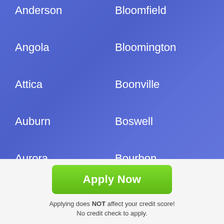Anderson
Angola
Attica
Auburn
Aurora
Avilla
Avon
Bloomfield
Bloomington
Boonville
Boswell
Bourbon
Brazil
Brook
Apply Now
Applying does NOT affect your credit score! No credit check to apply.